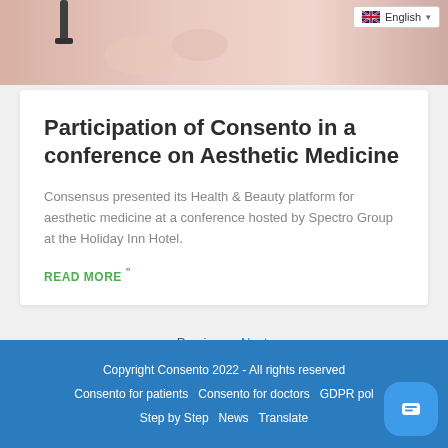[Figure (photo): Top portion of a photo showing a medical/aesthetic procedure with hands]
English
Participation of Consento in a conference on Aesthetic Medicine
Consensus presented its Health & Beauty platform for aesthetic medicine at a conference hosted by Spectro Group at the Holiday Inn Hotel.
READ MORE "
«Previous   Next »
Copyright Consento 2022 - All rights reserved
Consento for patients   Consento for doctors   GDPR pol
Step by Step   News   Translate